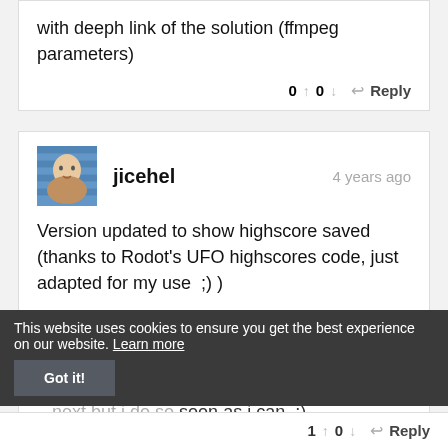with deeph link of the solution (ffmpeg parameters)
0 ↑  0 ↓  ↩ Reply
jicehel  4 years ago
Version updated to show highscore saved (thanks to Rodot's UFO highscores code, just adapted for my use  ;) )
Working sounds added as wav.
No time atm to implemant the 'camera / scrolling ...next but i do so soon as i can  ;)
This website uses cookies to ensure you get the best experience on our website.  Learn more
Got it!
1 ↑  0 ↓  ↩ Reply